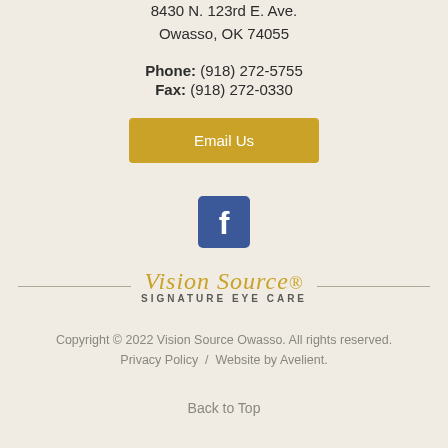8430 N. 123rd E. Ave.
Owasso, OK 74055
Phone: (918) 272-5755
Fax: (918) 272-0330
[Figure (other): Gold 'Email Us' button]
[Figure (other): Facebook icon square button in blue]
[Figure (logo): Vision Source Signature Eye Care logo with horizontal divider lines]
Copyright © 2022 Vision Source Owasso. All rights reserved.
Privacy Policy  /  Website by Avelient.
Back to Top